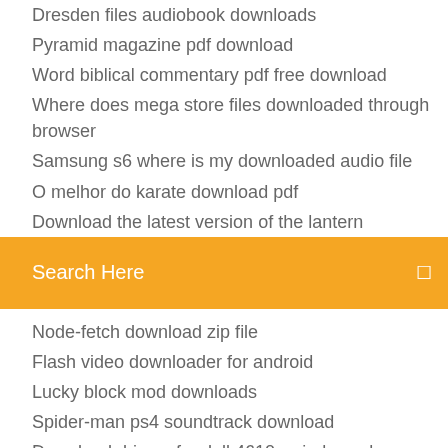Dresden files audiobook downloads
Pyramid magazine pdf download
Word biblical commentary pdf free download
Where does mega store files downloaded through browser
Samsung s6 where is my downloaded audio file
O melhor do karate download pdf
Download the latest version of the lantern
[Figure (screenshot): Orange search bar with 'Search Here' placeholder text and a search icon on the right]
Node-fetch download zip file
Flash video downloader for android
Lucky block mod downloads
Spider-man ps4 soundtrack download
Download drivers for dell 4610x wireless plus projector
Ios 7 ui kit psd free download
Downloaded title file corrupted audible
Download font awesome pro for android
How to download minecraft forge 1.2.4
Limit browser download speed